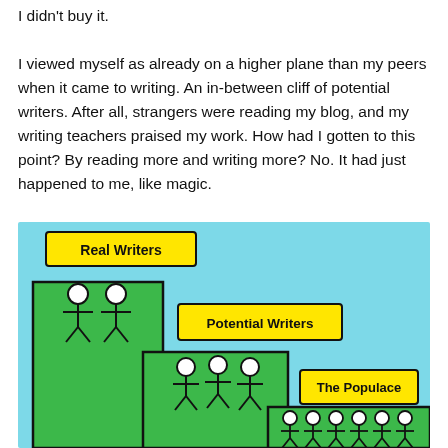I didn't buy it.

I viewed myself as already on a higher plane than my peers when it came to writing. An in-between cliff of potential writers. After all, strangers were reading my blog, and my writing teachers praised my work. How had I gotten to this point? By reading more and writing more? No. It had just happened to me, like magic.
[Figure (illustration): A cartoon illustration showing three tiers of a cliff/plateau. At the top left, two stick figures stand on a tall green cliff labeled 'Real Writers' (yellow banner). In the middle, three stick figures stand on a medium-height green ledge labeled 'Potential Writers' (yellow banner). At the lower right, many stick figures stand at the bottom labeled 'The Populace' (yellow banner). The background is light blue (sky).]